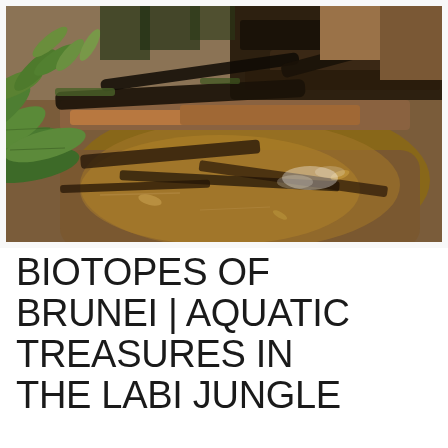[Figure (photo): A shallow jungle stream or pool in a rainforest setting. The water is brown/amber-colored and partly transparent, revealing a muddy bottom with submerged leaves and debris. Rocky and dark wooden logs are visible along the bank in the upper portion. Green tropical foliage (ferns and leafy plants) frames the left side. Natural light reflects off the water surface in the center-right area.]
BIOTOPES OF BRUNEI | AQUATIC TREASURES IN THE LABI JUNGLE